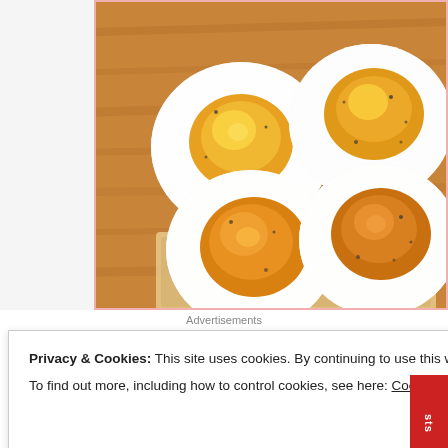[Figure (photo): Overhead view of four hard-boiled egg halves with yellow yolks showing, sprinkled with black pepper, arranged on a wooden cutting board with what appears to be crackers or bread underneath.]
Advertisements
Privacy & Cookies: This site uses cookies. By continuing to use this website, you agree to their use.
To find out more, including how to control cookies, see here: Cookie Policy
Close and accept